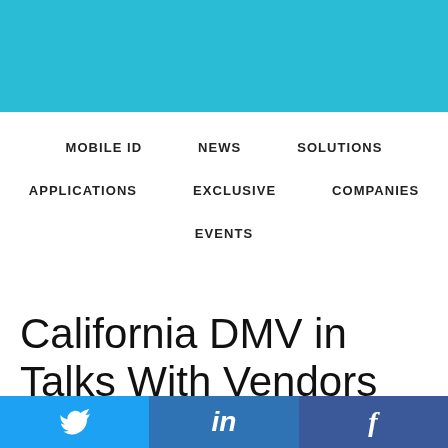[Figure (other): Cyan/teal header banner background]
MOBILE ID   NEWS   SOLUTIONS   APPLICATIONS   EXCLUSIVE   COMPANIES   EVENTS
California DMV in Talks With Vendors About
[Figure (other): Social media sharing bar with Twitter, LinkedIn, and Facebook icons]